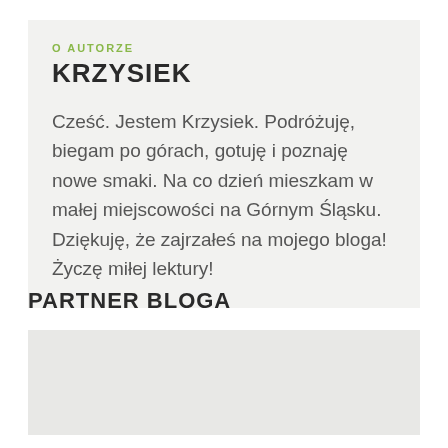O AUTORZE
KRZYSIEK
Cześć. Jestem Krzysiek. Podróżuję, biegam po górach, gotuję i poznaję nowe smaki. Na co dzień mieszkam w małej miejscowości na Górnym Śląsku. Dziękuję, że zajrzałeś na mojego bloga! Życzę miłej lektury!
PARTNER BLOGA
[Figure (other): Blank grey rectangle placeholder for partner image]